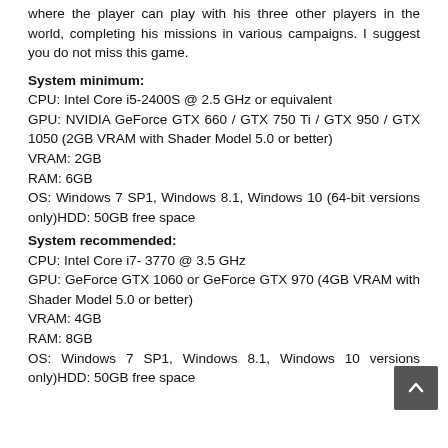where the player can play with his three other players in the world, completing his missions in various campaigns. I suggest you do not miss this game.
System minimum:
CPU: Intel Core i5-2400S @ 2.5 GHz or equivalent
GPU: NVIDIA GeForce GTX 660 / GTX 750 Ti / GTX 950 / GTX 1050 (2GB VRAM with Shader Model 5.0 or better)
VRAM: 2GB
RAM: 6GB
OS: Windows 7 SP1, Windows 8.1, Windows 10 (64-bit versions only)HDD: 50GB free space
System recommended:
CPU: Intel Core i7- 3770 @ 3.5 GHz
GPU: GeForce GTX 1060 or GeForce GTX 970 (4GB VRAM with Shader Model 5.0 or better)
VRAM: 4GB
RAM: 8GB
OS: Windows 7 SP1, Windows 8.1, Windows 10 versions only)HDD: 50GB free space